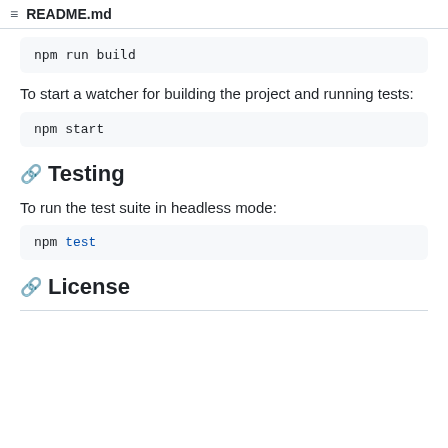README.md
npm run build
To start a watcher for building the project and running tests:
npm start
Testing
To run the test suite in headless mode:
npm test
License